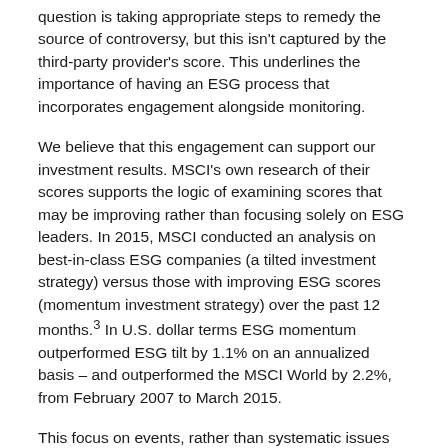question is taking appropriate steps to remedy the source of controversy, but this isn't captured by the third-party provider's score. This underlines the importance of having an ESG process that incorporates engagement alongside monitoring.
We believe that this engagement can support our investment results. MSCI's own research of their scores supports the logic of examining scores that may be improving rather than focusing solely on ESG leaders. In 2015, MSCI conducted an analysis on best-in-class ESG companies (a tilted investment strategy) versus those with improving ESG scores (momentum investment strategy) over the past 12 months.³ In U.S. dollar terms ESG momentum outperformed ESG tilt by 1.1% on an annualized basis – and outperformed the MSCI World by 2.2%, from February 2007 to March 2015.
This focus on events, rather than systematic issues and